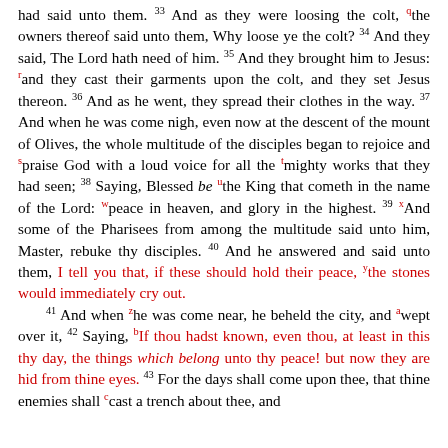had said unto them. 33 And as they were loosing the colt, the owners thereof said unto them, Why loose ye the colt? 34 And they said, The Lord hath need of him. 35 And they brought him to Jesus: and they cast their garments upon the colt, and they set Jesus thereon. 36 And as he went, they spread their clothes in the way. 37 And when he was come nigh, even now at the descent of the mount of Olives, the whole multitude of the disciples began to rejoice and praise God with a loud voice for all the mighty works that they had seen; 38 Saying, Blessed be the King that cometh in the name of the Lord: peace in heaven, and glory in the highest. 39 And some of the Pharisees from among the multitude said unto him, Master, rebuke thy disciples. 40 And he answered and said unto them, I tell you that, if these should hold their peace, the stones would immediately cry out. 41 And when he was come near, he beheld the city, and wept over it, 42 Saying, If thou hadst known, even thou, at least in this thy day, the things which belong unto thy peace! but now they are hid from thine eyes. 43 For the days shall come upon thee, that thine enemies shall cast a trench about thee, and